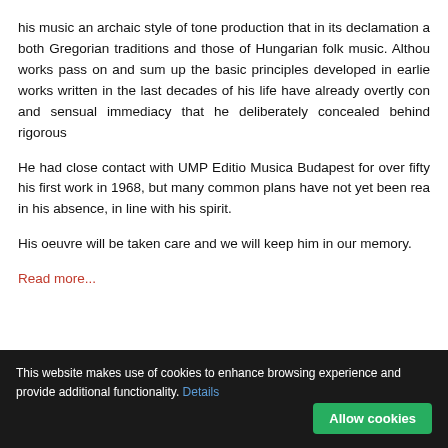his music an archaic style of tone production that in its declamation absorbs both Gregorian traditions and those of Hungarian folk music. Although his works pass on and sum up the basic principles developed in earlier works, the works written in the last decades of his life have already overtly conveyed warmth and sensual immediacy that he deliberately concealed behind rigorous forms.
He had close contact with UMP Editio Musica Budapest for over fifty years, publishing his first work in 1968, but many common plans have not yet been realized. We carry on in his absence, in line with his spirit.
His oeuvre will be taken care and we will keep him in our memory.
Read more...
In memoriam Márta Kurtág (1927-2019)
This website makes use of cookies to enhance browsing experience and provide additional functionality. Details